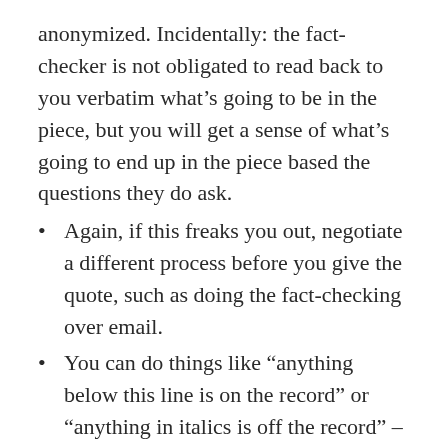anonymized. Incidentally: the fact-checker is not obligated to read back to you verbatim what's going to be in the piece, but you will get a sense of what's going to end up in the piece based the questions they do ask.
Again, if this freaks you out, negotiate a different process before you give the quote, such as doing the fact-checking over email.
You can do things like “anything below this line is on the record” or “anything in italics is off the record” – just get an agreement in writing with the journalist